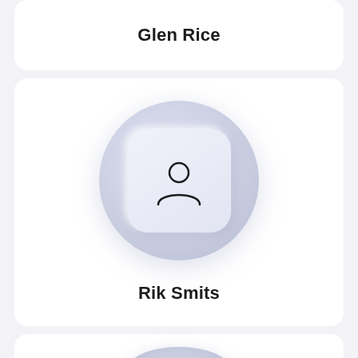Glen Rice
[Figure (illustration): Default user avatar placeholder with person silhouette icon inside a rounded square button on a circular lavender background, representing Rik Smits]
Rik Smits
[Figure (illustration): Partial view of another default user avatar placeholder circle at the bottom of the page]